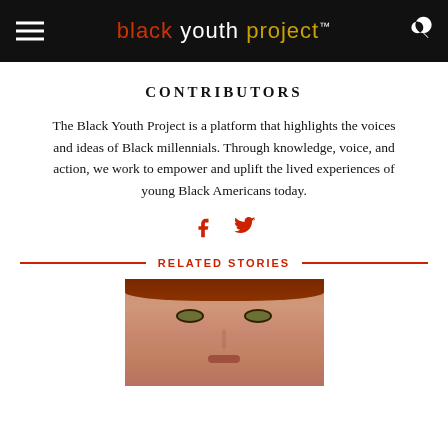black youth project™
CONTRIBUTORS
The Black Youth Project is a platform that highlights the voices and ideas of Black millennials. Through knowledge, voice, and action, we work to empower and uplift the lived experiences of young Black Americans today.
[Figure (infographic): Social media icons: Facebook (f) and Twitter (bird) in red]
RELATED STORIES
[Figure (photo): Close-up portrait photo of a woman with reddish-brown hair and green eyes]